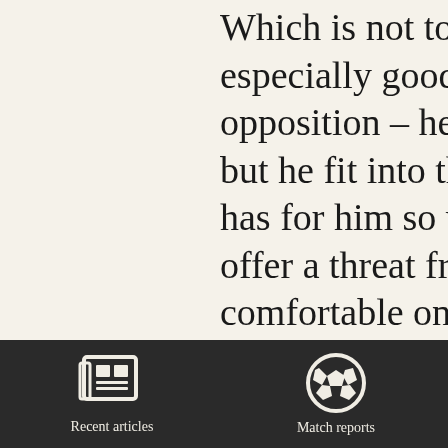Which is not to say that he was especially good against the opposition – he was se… but he fit into the role … has for him so well. Ta… offer a threat from set p… comfortable on the bal… play it with control, an… Youth player Kesi Om… the fourth central defe… show. He was untroub… the second half.
[Figure (infographic): Dark navigation bar at bottom with two icons: a newspaper icon labeled 'Recent articles' and a soccer ball icon labeled 'Match reports']